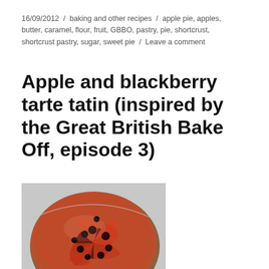16/09/2012 / baking and other recipes / apple pie, apples, butter, caramel, flour, fruit, GBBO, pastry, pie, shortcrust, shortcrust pastry, sugar, sweet pie / Leave a comment
Apple and blackberry tarte tatin (inspired by the Great British Bake Off, episode 3)
[Figure (photo): A photo of a round apple and blackberry tarte tatin, showing caramelised apple slices and dark blackberries arranged on top of the inverted tart, with a glossy caramel glaze.]